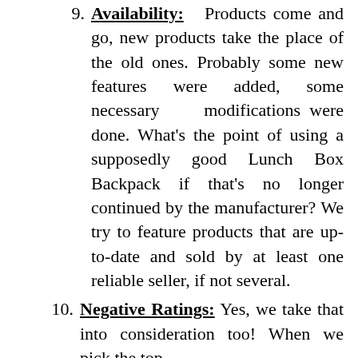9. Availability: Products come and go, new products take the place of the old ones. Probably some new features were added, some necessary modifications were done. What's the point of using a supposedly good Lunch Box Backpack if that's no longer continued by the manufacturer? We try to feature products that are up-to-date and sold by at least one reliable seller, if not several.
10. Negative Ratings: Yes, we take that into consideration too! When we pick the top